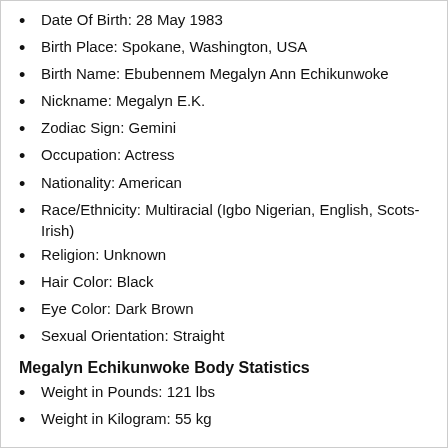Date Of Birth: 28 May 1983
Birth Place: Spokane, Washington, USA
Birth Name: Ebubennem Megalyn Ann Echikunwoke
Nickname: Megalyn E.K.
Zodiac Sign: Gemini
Occupation: Actress
Nationality: American
Race/Ethnicity: Multiracial (Igbo Nigerian, English, Scots-Irish)
Religion: Unknown
Hair Color: Black
Eye Color: Dark Brown
Sexual Orientation: Straight
Megalyn Echikunwoke Body Statistics
Weight in Pounds: 121 lbs
Weight in Kilogram: 55 kg